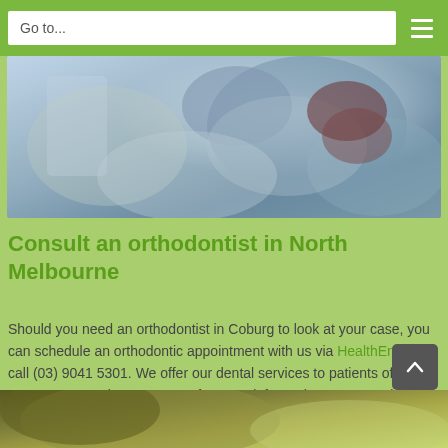Go to...
[Figure (photo): Dental patient in chair being examined by a dentist or orthodontist]
Consult an orthodontist in North Melbourne
Should you need an orthodontist in Coburg to look at your case, you can schedule an orthodontic appointment with us via HealthEngine or call (03) 9041 5301. We offer our dental services to patients of all ages. You can also contact us for more information on our oral health solutions.
[Figure (photo): Bottom strip showing partial image, green tones]